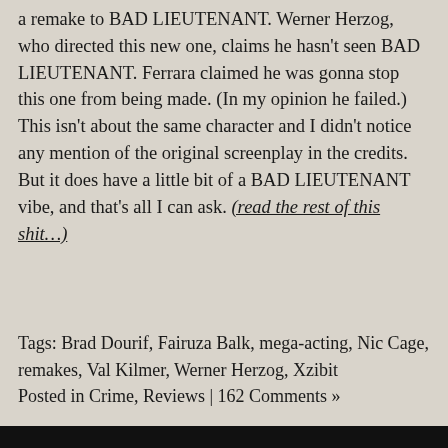a remake to BAD LIEUTENANT. Werner Herzog, who directed this new one, claims he hasn't seen BAD LIEUTENANT. Ferrara claimed he was gonna stop this one from being made. (In my opinion he failed.) This isn't about the same character and I didn't notice any mention of the original screenplay in the credits. But it does have a little bit of a BAD LIEUTENANT vibe, and that's all I can ask. (read the rest of this shit…)
Tags: Brad Dourif, Fairuza Balk, mega-acting, Nic Cage, remakes, Val Kilmer, Werner Herzog, Xzibit
Posted in Crime, Reviews | 162 Comments »